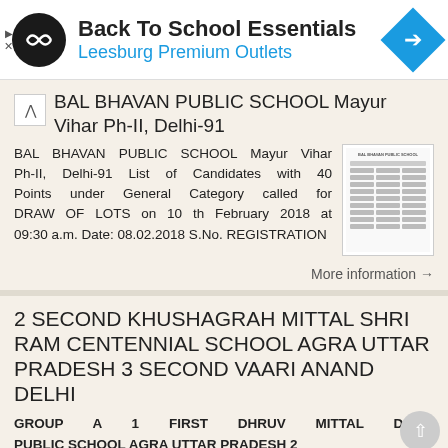[Figure (screenshot): Ad banner for Back To School Essentials at Leesburg Premium Outlets with logo and navigation arrow icon]
BAL BHAVAN PUBLIC SCHOOL Mayur Vihar Ph-II, Delhi-91
BAL BHAVAN PUBLIC SCHOOL Mayur Vihar Ph-II, Delhi-91 List of Candidates with 40 Points under General Category called for DRAW OF LOTS on 10 th February 2018 at 09:30 a.m. Date: 08.02.2018 S.No. REGISTRATION
More information →
2 SECOND KHUSHAGRAH MITTAL SHRI RAM CENTENNIAL SCHOOL AGRA UTTAR PRADESH 3 SECOND VAARI ANAND DELHI
GROUP A 1 FIRST DHRUV MITTAL DELHI PUBLIC SCHOOL AGRA UTTAR PRADESH 2